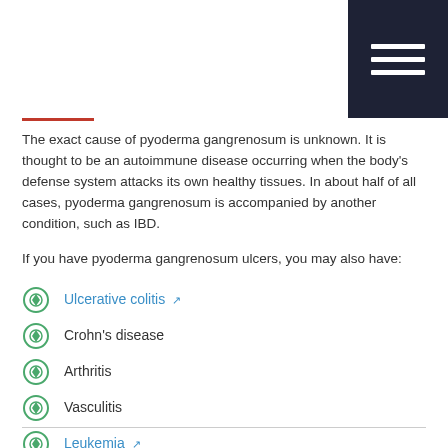The exact cause of pyoderma gangrenosum is unknown. It is thought to be an autoimmune disease occurring when the body's defense system attacks its own healthy tissues. In about half of all cases, pyoderma gangrenosum is accompanied by another condition, such as IBD.
If you have pyoderma gangrenosum ulcers, you may also have:
Ulcerative colitis
Crohn's disease
Arthritis
Vasculitis
Leukemia
It is more common among women than men, most frequently affecting people between the ages of 40 and 50.